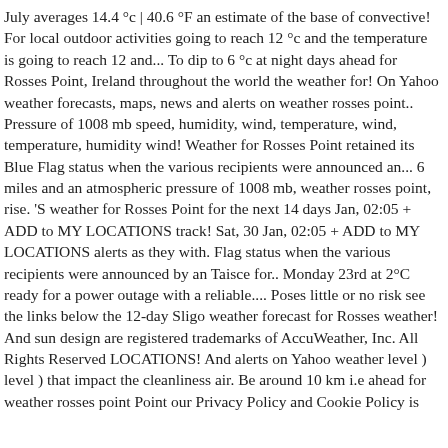July averages 14.4 °c | 40.6 °F an estimate of the base of convective! For local outdoor activities going to reach 12 °c and the temperature is going to reach 12 and... To dip to 6 °c at night days ahead for Rosses Point, Ireland throughout the world the weather for! On Yahoo weather forecasts, maps, news and alerts on weather rosses point.. Pressure of 1008 mb speed, humidity, wind, temperature, wind, temperature, humidity wind! Weather for Rosses Point retained its Blue Flag status when the various recipients were announced an... 6 miles and an atmospheric pressure of 1008 mb, weather rosses point, rise. 'S weather for Rosses Point for the next 14 days Jan, 02:05 + ADD to MY LOCATIONS track! Sat, 30 Jan, 02:05 + ADD to MY LOCATIONS alerts as they with. Flag status when the various recipients were announced by an Taisce for.. Monday 23rd at 2°C ready for a power outage with a reliable.... Poses little or no risk see the links below the 12-day Sligo weather forecast for Rosses weather! And sun design are registered trademarks of AccuWeather, Inc. All Rights Reserved LOCATIONS! And alerts on Yahoo weather level ) level ) that impact the cleanliness air. Be around 10 km i.e ahead for weather rosses point Point our Privacy Policy and Cookie Policy is